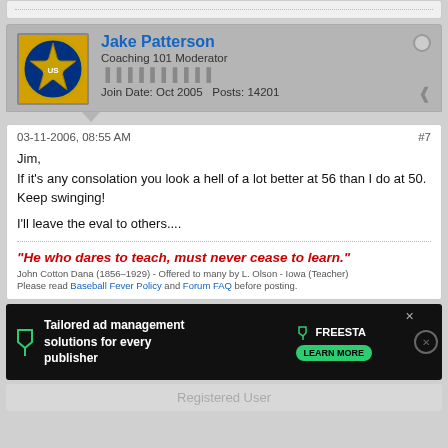Jake Patterson
Coaching 101 Moderator
Join Date: Oct 2005   Posts: 14201
03-11-2006, 08:55 AM
#7

Jim,
If it's any consolation you look a hell of a lot better at 56 than I do at 50. Keep swinging!

I'll leave the eval to others....
"He who dares to teach, must never cease to learn."
John Cotton Dana (1856-1929) - Offered to many by L. Olson - Iowa (Teacher)
Please read Baseball Fever Policy and Forum FAQ before posting.
[Figure (screenshot): Advertisement: Tailored ad management solutions for every publisher - FREESTA with Learn More button]
Registered User